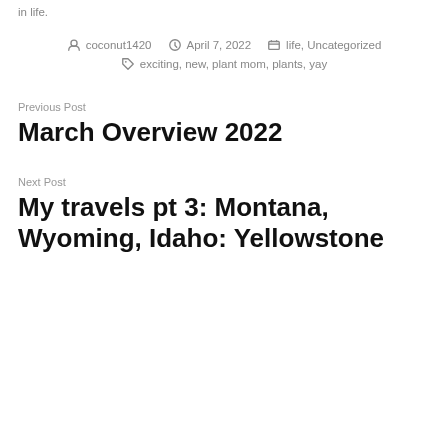in life.
coconut1420  April 7, 2022  life, Uncategorized
exciting, new, plant mom, plants, yay
Previous Post
March Overview 2022
Next Post
My travels pt 3: Montana, Wyoming, Idaho: Yellowstone